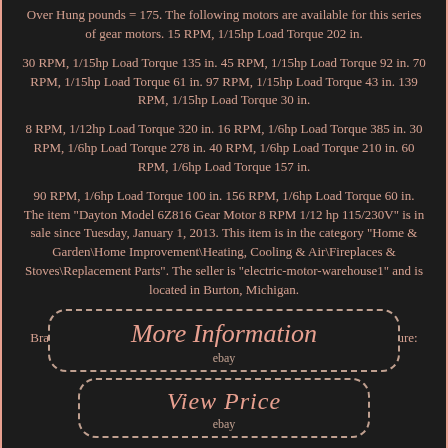Over Hung pounds = 175. The following motors are available for this series of gear motors. 15 RPM, 1/15hp Load Torque 202 in.
30 RPM, 1/15hp Load Torque 135 in. 45 RPM, 1/15hp Load Torque 92 in. 70 RPM, 1/15hp Load Torque 61 in. 97 RPM, 1/15hp Load Torque 43 in. 139 RPM, 1/15hp Load Torque 30 in.
8 RPM, 1/12hp Load Torque 320 in. 16 RPM, 1/6hp Load Torque 385 in. 30 RPM, 1/6hp Load Torque 278 in. 40 RPM, 1/6hp Load Torque 210 in. 60 RPM, 1/6hp Load Torque 157 in.
90 RPM, 1/6hp Load Torque 100 in. 156 RPM, 1/6hp Load Torque 60 in. The item "Dayton Model 6Z816 Gear Motor 8 RPM 1/12 hp 115/230V" is in sale since Tuesday, January 1, 2013. This item is in the category "Home & Garden\Home Improvement\Heating, Cooling & Air\Fireplaces & Stoves\Replacement Parts". The seller is "electric-motor-warehouse1" and is located in Burton, Michigan.
This item can be shipped to United States, Canada. Brand: Dayton Model: Gear Motor MPN: 6Z816 Country of Manufacture: United States Reference: 016-242-7216
[Figure (other): Button with dashed border labeled 'More Information' with 'ebay' subtitle]
[Figure (other): Button with dashed border labeled 'View Price' with 'ebay' subtitle]